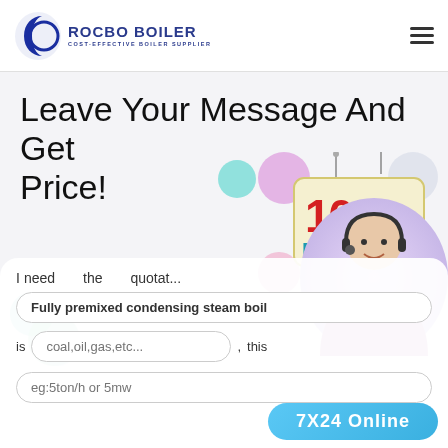[Figure (logo): Rocbo Boiler logo with crescent moon icon and text: ROCBO BOILER / COST-EFFECTIVE BOILER SUPPLIER]
Leave Your Message And Get Price!
[Figure (illustration): 10% DISCOUNT sign with decorative bubbles in teal, pink, purple, teal/green colors]
I need the quotation of
Fully premixed condensing steam boil
is coal,oil,gas,etc..., this
eg:5ton/h or 5mw
7X24 Online